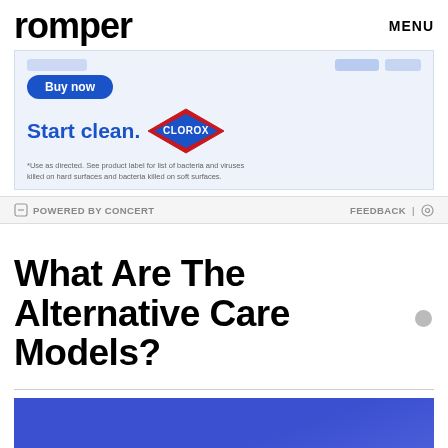romper   MENU
[Figure (illustration): Clorox advertisement banner with 'Buy now' button, 'Start clean.' tagline in blue, Clorox diamond logo in red and blue, and footnote text about product usage directions.]
*Use as directed. See product label for list of bacteria and viruses killed on hard surfaces and bacteria killed on soft surfaces.
POWERED BY CONCERT   FEEDBACK | ⚙
What Are The Alternative Care Models?
[Figure (photo): Blue/purple gradient image at the bottom of the page, partially visible, likely an article hero image.]